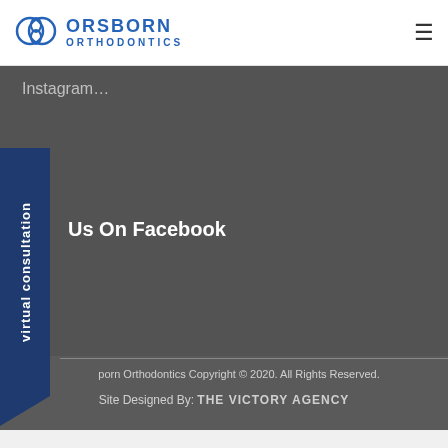[Figure (logo): Orsborn Orthodontics logo with two overlapping circles and text]
Instagram…
virtual consultation
Us On Facebook
porn Orthodontics Copyright © 2020. All Rights Reserved.
Site Designed By: THE VICTORY AGENCY